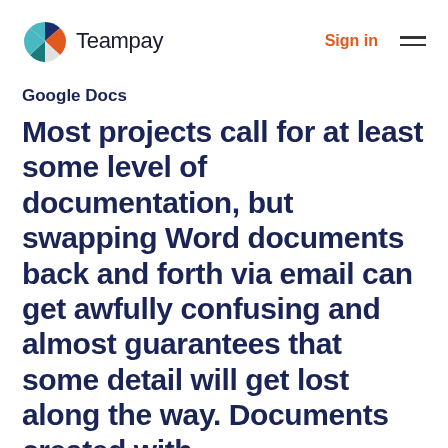Teampay | Sign in
Google Docs
Most projects call for at least some level of documentation, but swapping Word documents back and forth via email can get awfully confusing and almost guarantees that some detail will get lost along the way. Documents created with